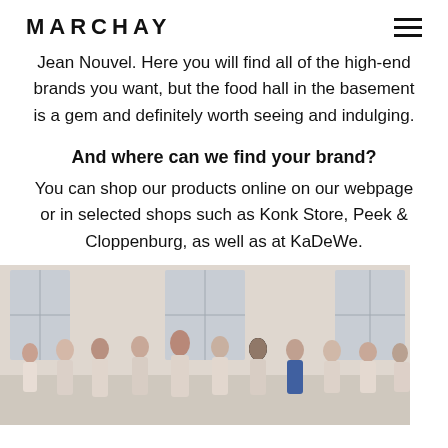MARCHAY
Jean Nouvel. Here you will find all of the high-end brands you want, but the food hall in the basement is a gem and definitely worth seeing and indulging.
And where can we find your brand?
You can shop our products online on our webpage or in selected shops such as Konk Store, Peek & Cloppenburg, as well as at KaDeWe.
[Figure (photo): Group of people, likely dancers, standing and applauding in a room with large windows and classical architecture.]